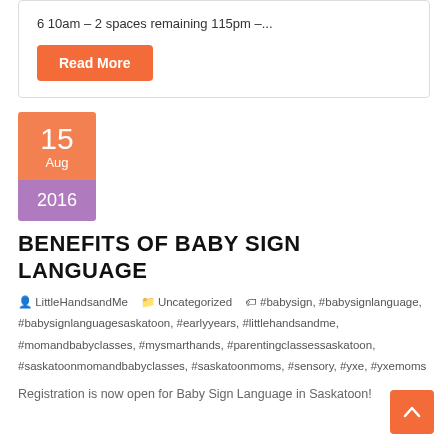6 10am – 2 spaces remaining 115pm –...
Read More
15 Aug 2016
BENEFITS OF BABY SIGN LANGUAGE
LittleHandsandMe   Uncategorized   #babysign, #babysignlanguage, #babysignlanguagesaskatoon, #earlyyears, #littlehandsandme, #momandbabyclasses, #mysmarthands, #parentingclassessaskatoon, #saskatoonmomandbabyclasses, #saskatoonmoms, #sensory, #yxe, #yxemoms
Registration is now open for Baby Sign Language in Saskatoon!